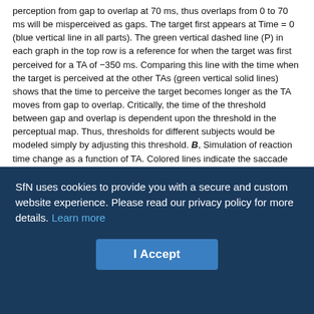perception from gap to overlap at 70 ms, thus overlaps from 0 to 70 ms will be misperceived as gaps. The target first appears at Time = 0 (blue vertical line in all parts). The green vertical dashed line (P) in each graph in the top row is a reference for when the target was first perceived for a TA of −350 ms. Comparing this line with the time when the target is perceived at the other TAs (green vertical solid lines) shows that the time to perceive the target becomes longer as the TA moves from gap to overlap. Critically, the time of the threshold between gap and overlap is dependent upon the threshold in the perceptual map. Thus, thresholds for different subjects would be modeled simply by adjusting this threshold. B, Simulation of reaction time change as a function of TA. Colored lines indicate the saccade and perception reaction time changes in our experiments (same data as in Fig. 2E and F, but shifted vertically to cross zero at TA = 0). Thick black line is the change of the time of perception of the target in our model. According to our hypothesis, this line determines the change of the PRT (light and dark orange lines). As the underlying mechanism of the TA dependence is common to both action and perception, the perception output of the model must also reproduce the output of the action branch, as indicated by the similarity of the black line with the change in the SRT (light and dark blue lines).
SfN uses cookies to provide you with a secure and custom website experience. Please read our privacy policy for more details. Learn more